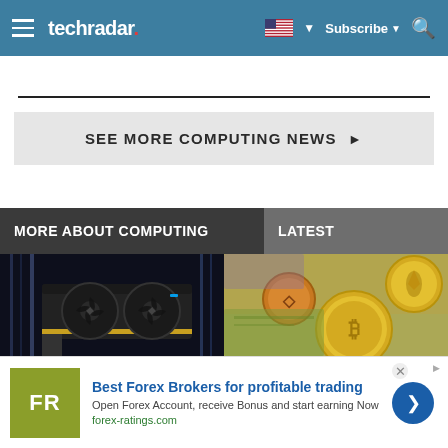techradar — Subscribe
SEE MORE COMPUTING NEWS ▶
MORE ABOUT COMPUTING
LATEST
[Figure (photo): A GPU graphics card with dual fans against a dark background with vertical lights]
[Figure (photo): Gold and bronze cryptocurrency coins (Bitcoin, Ethereum) on top of paper currency]
[Figure (other): Advertisement: Best Forex Brokers for profitable trading — FR logo, forex-ratings.com]